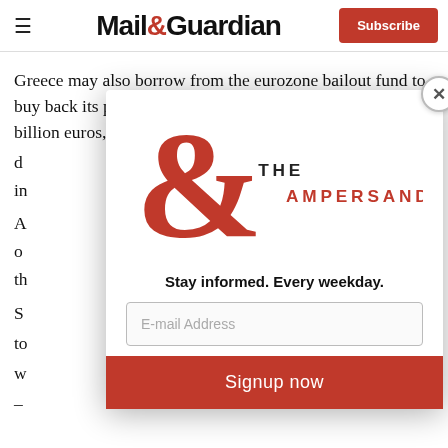Mail&Guardian — Subscribe
Greece may also borrow from the eurozone bailout fund to buy back its privately held debt, of which there is 50-60 billion euros, taking advantage of the deep d... in...
[Figure (logo): The Ampersand newsletter logo — large red ampersand with 'THE AMPERSAND' text]
Stay informed. Every weekday.
E-mail Address
Signup now